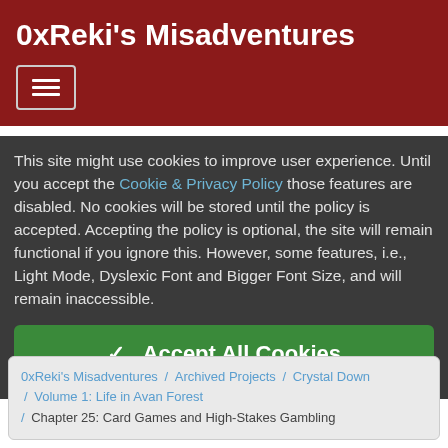0xReki's Misadventures
This site might use cookies to improve user experience. Until you accept the Cookie & Privacy Policy those features are disabled. No cookies will be stored until the policy is accepted. Accepting the policy is optional, the site will remain functional if you ignore this. However, some features, i.e., Light Mode, Dyslexic Font and Bigger Font Size, and will remain inaccessible.
✓  Accept All Cookies
0xReki's Misadventures / Archived Projects / Crystal Down / Volume 1: Life in Avan Forest / Chapter 25: Card Games and High-Stakes Gambling